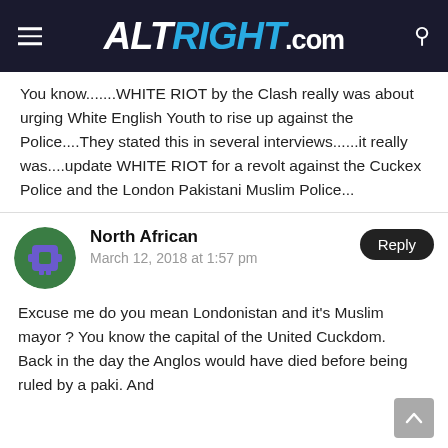ALTRIGHT.COM
You know.......WHITE RIOT by the Clash really was about urging White English Youth to rise up against the Police....They stated this in several interviews......it really was....update WHITE RIOT for a revolt against the Cuckex Police and the London Pakistani Muslim Police...
North African
March 12, 2018 at 1:57 pm
Excuse me do you mean Londonistan and it's Muslim mayor ? You know the capital of the United Cuckdom.
Back in the day the Anglos would have died before being ruled by a paki. And